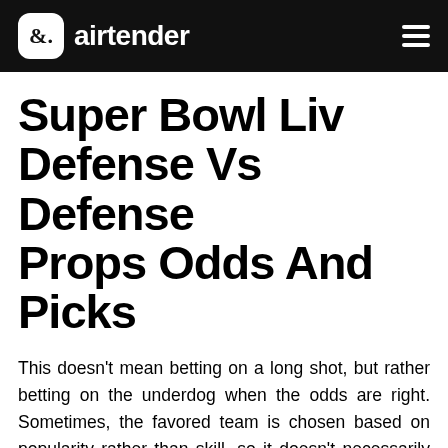airtender
Super Bowl Liv Defense Vs Defense Props Odds And Picks
This doesn't mean betting on a long shot, but rather betting on the underdog when the odds are right. Sometimes, the favored team is chosen based on popularity rather than skill, so it doesn't necessarily mean the favorite will win. Parlay betting involves making multiple types of bets on the same game. For example, if you combined a moneyline bet and a point spread bet on the same game, this would be a parlay bet.These bets often